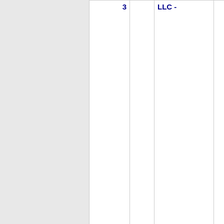| Number | State | Company | Code |
| --- | --- | --- | --- |
| 3 |  | LLC - |  |
| Thousands block for 360-881 |  |  |  |
| 360-881-8 | WA | ELTOPIA COMMUNICATIONS, LLC - | 663D |